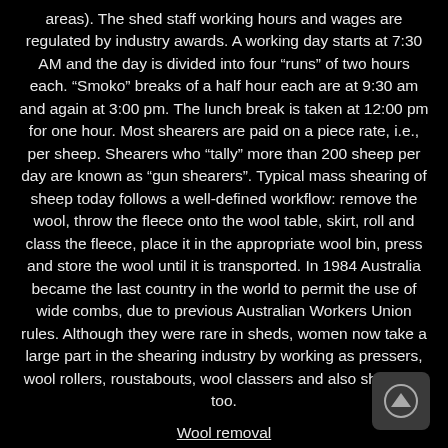areas). The shed staff working hours and wages are regulated by industry awards. A working day starts at 7:30 AM and the day is divided into four “runs” of two hours each. “Smoko” breaks of a half hour each are at 9:30 am and again at 3:00 pm. The lunch break is taken at 12:00 pm for one hour. Most shearers are paid on a piece rate, i.e., per sheep. Shearers who “tally” more than 200 sheep per day are known as “gun shearers”. Typical mass shearing of sheep today follows a well-defined workflow: remove the wool, throw the fleece onto the wool table, skirt, roll and class the fleece, place it in the appropriate wool bin, press and store the wool until it is transported. In 1984 Australia became the last country in the world to permit the use of wide combs, due to previous Australian Workers Union rules. Although they were rare in sheds, women now take a large part in the shearing industry by working as pressers, wool rollers, roustabouts, wool classers and also shearing, too.
Wool removal